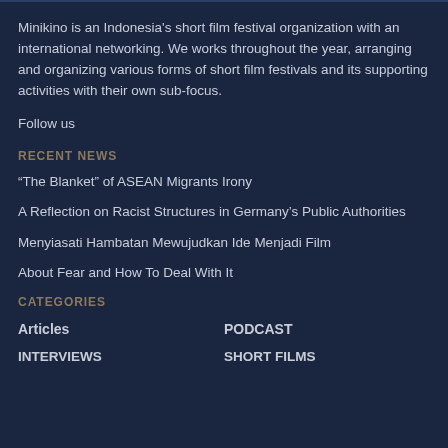Minikino is an Indonesia’s short film festival organization with an international networking. We works throughout the year, arranging and organizing various forms of short film festivals and its supporting activities with their own sub-focus.
Follow us
RECENT NEWS
“The Blanket” of ASEAN Migrants Irony
A Reflection on Racist Structures in Germany’s Public Authorities
Menyiasati Hambatan Mewujudkan Ide Menjadi Film
About Fear and How To Deal With It
CATEGORIES
Articles
PODCAST
INTERVIEWS
SHORT FILMS